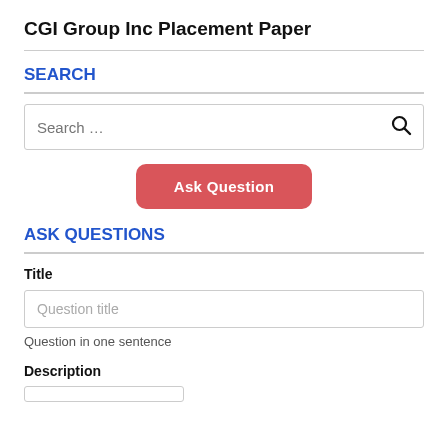CGI Group Inc Placement Paper
SEARCH
[Figure (screenshot): Search input box with placeholder 'Search …' and a magnifying glass icon on the right]
Ask Question
ASK QUESTIONS
Title
[Figure (screenshot): Text input field with placeholder 'Question title']
Question in one sentence
Description
[Figure (screenshot): Partial text input area for description]